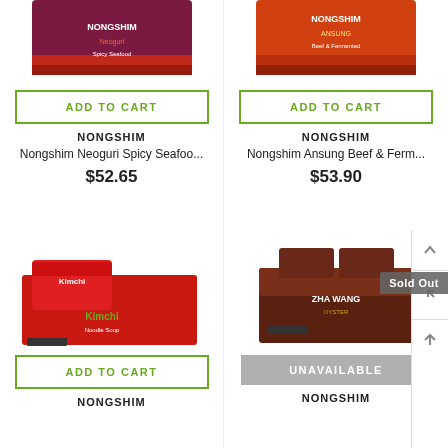[Figure (photo): Nongshim Neoguri Spicy Seafood ramen box product image, dark purple/red packaging]
ADD TO CART
NONGSHIM
Nongshim Neoguri Spicy Seafoo...
$52.65
[Figure (photo): Nongshim Ansung Beef & Fermented ramen box product image, orange/red packaging]
ADD TO CART
NONGSHIM
Nongshim Ansung Beef & Ferm...
$53.90
[Figure (photo): Nongshim Kimchi Noodle Soup ramen box product image, red packaging with Kimchi branding]
ADD TO CART
NONGSHIM
[Figure (photo): Nongshim Zha Wang oyster ramen box product image, dark brown packaging with Sold Out badge]
UNAVAILABLE
NONGSHIM